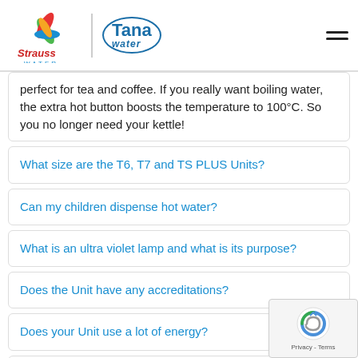[Figure (logo): Strauss Water logo with colorful pinwheel and 'Tana water' logo]
perfect for tea and coffee. If you really want boiling water, the extra hot button boosts the temperature to 100°C. So you no longer need your kettle!
What size are the T6, T7 and TS PLUS Units?
Can my children dispense hot water?
What is an ultra violet lamp and what is its purpose?
Does the Unit have any accreditations?
Does your Unit use a lot of energy?
How much water does the Unit provide?